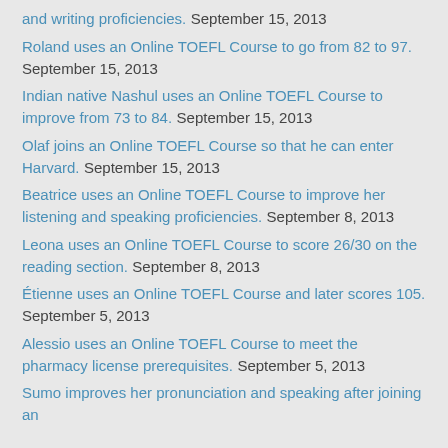and writing proficiencies. September 15, 2013
Roland uses an Online TOEFL Course to go from 82 to 97. September 15, 2013
Indian native Nashul uses an Online TOEFL Course to improve from 73 to 84. September 15, 2013
Olaf joins an Online TOEFL Course so that he can enter Harvard. September 15, 2013
Beatrice uses an Online TOEFL Course to improve her listening and speaking proficiencies. September 8, 2013
Leona uses an Online TOEFL Course to score 26/30 on the reading section. September 8, 2013
Étienne uses an Online TOEFL Course and later scores 105. September 5, 2013
Alessio uses an Online TOEFL Course to meet the pharmacy license prerequisites. September 5, 2013
Sumo improves her pronunciation and speaking after joining an